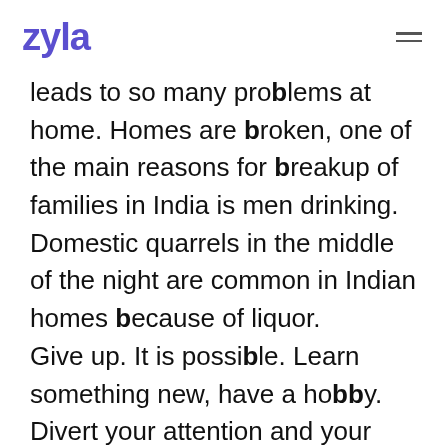zyla
leads to so many problems at home. Homes are broken, one of the main reasons for breakup of families in India is men drinking. Domestic quarrels in the middle of the night are common in Indian homes because of liquor.
Give up. It is possible. Learn something new, have a hobby. Divert your attention and your urge, and if nothing works take